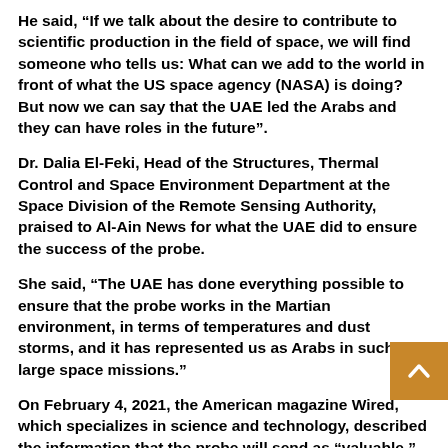He said, “If we talk about the desire to contribute to scientific production in the field of space, we will find someone who tells us: What can we add to the world in front of what the US space agency (NASA) is doing? But now we can say that the UAE led the Arabs and they can have roles in the future”.
Dr. Dalia El-Feki, Head of the Structures, Thermal Control and Space Environment Department at the Space Division of the Remote Sensing Authority, praised to Al-Ain News for what the UAE did to ensure the success of the probe.
She said, “The UAE has done everything possible to ensure that the probe works in the Martian environment, in terms of temperatures and dust storms, and it has represented us as Arabs in such large space missions.”
On February 4, 2021, the American magazine Wired, which specializes in science and technology, described the information that the probe will send as “valuable.”
She said: “The probe will send valuable information about Mars and an integrated picture of the atmosphere of the planet to deepen humanity’s understanding about the sources of water on the planet, and possible ways to live on it, but most importantly, the information that scientists will